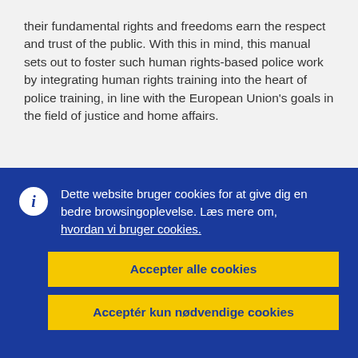their fundamental rights and freedoms earn the respect and trust of the public. With this in mind, this manual sets out to foster such human rights-based police work by integrating human rights training into the heart of police training, in line with the European Union's goals in the field of justice and home affairs.
Dette website bruger cookies for at give dig en bedre browsingoplevelse. Læs mere om, hvordan vi bruger cookies.
Accepter alle cookies
Acceptér kun nødvendige cookies